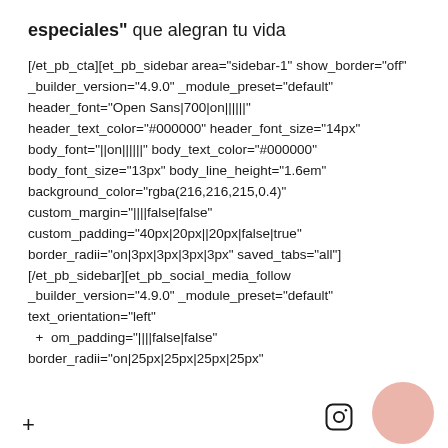especiales" que alegran tu vida
[/et_pb_cta][et_pb_sidebar area="sidebar-1" show_border="off" _builder_version="4.9.0" _module_preset="default" header_font="Open Sans|700|on||||||" header_text_color="#000000" header_font_size="14px" body_font="||on||||||" body_text_color="#000000" body_font_size="13px" body_line_height="1.6em" background_color="rgba(216,216,215,0.4)" custom_margin="||||false|false" custom_padding="40px|20px||20px|false|true" border_radii="on|3px|3px|3px|3px" saved_tabs="all"][/et_pb_sidebar][et_pb_social_media_follow _builder_version="4.9.0" _module_preset="default" text_orientation="left" + om_padding="||||false|false" border_radii="on|25px|25px|25px|25px"